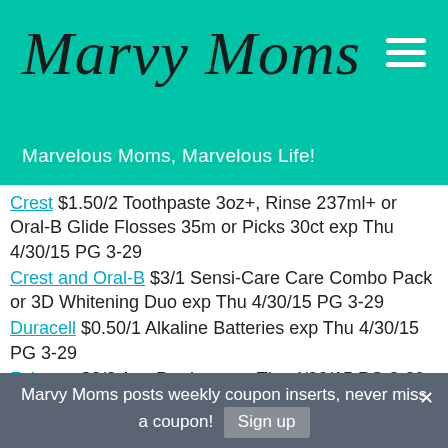Marvy Moms — Marvelous Moms, Marvelous Life!
Crest $1.50/2 Toothpaste 3oz+, Rinse 237ml+ or Oral-B Glide Flosses 35m or Picks 30ct exp Thu 4/30/15 PG 3-29
Crest and Oral-B $3/1 Sensi-Care Care Combo Pack or 3D Whitening Duo exp Thu 4/30/15 PG 3-29
Duracell $0.50/1 Alkaline Batteries exp Thu 4/30/15 PG 3-29
Febreze $3/3 Any Product exp Thu 4/30/15 PG 3-29
Febreze $0.50/1 Any Product exp Thu 4/30/15 PG 3-29
Febreze $1.50/2 Any Product exp Thu 4/30/15 PG 3-29
Gillette $1.50/1 Antiperspirant Deodorant exp Thu 4/30/15 PG 3-29
Marvy Moms posts weekly coupon inserts, never miss a coupon! Sign up